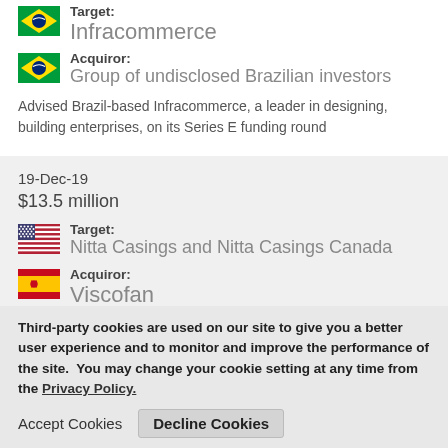Target: Infracommerce
Acquiror: Group of undisclosed Brazilian investors
Advised Brazil-based Infracommerce, a leader in designing, building enterprises, on its Series E funding round
19-Dec-19
$13.5 million
Target: Nitta Casings and Nitta Casings Canada
Acquiror: Viscofan
Advised Viscofan (BME:VIS), the #1 producer of artificial casings f
Third-party cookies are used on our site to give you a better user experience and to monitor and improve the performance of the site.  You may change your cookie setting at any time from the Privacy Policy.